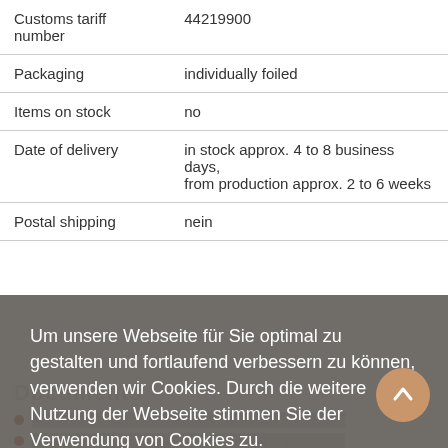| Property | Value |
| --- | --- |
| Customs tariff number | 44219900 |
| Packaging | individually foiled |
| Items on stock | no |
| Date of delivery | in stock approx. 4 to 8 business days, from production approx. 2 to 6 weeks |
| Postal shipping | nein |
Documents
Um unsere Webseite für Sie optimal zu gestalten und fortlaufend verbessern zu können, verwenden wir Cookies. Durch die weitere Nutzung der Webseite stimmen Sie der Verwendung von Cookies zu.
Mehr erfahren
Akzeptieren